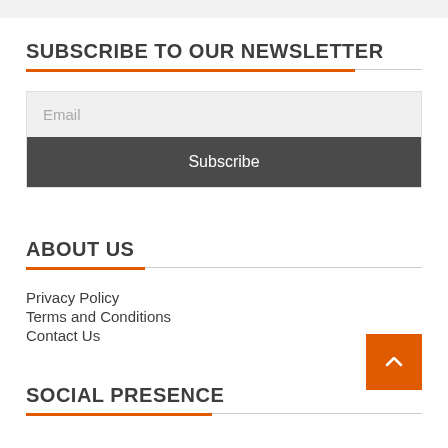SUBSCRIBE TO OUR NEWSLETTER
Email
Subscribe
ABOUT US
Privacy Policy
Terms and Conditions
Contact Us
SOCIAL PRESENCE